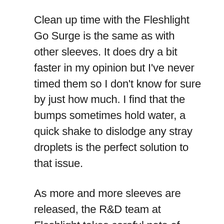Clean up time with the Fleshlight Go Surge is the same as with other sleeves. It does dry a bit faster in my opinion but I've never timed them so I don't know for sure by just how much. I find that the bumps sometimes hold water, a quick shake to dislodge any stray droplets is the perfect solution to that issue.
As more and more sleeves are released, the R&D team at Fleshlight takes careful note of customer feedback and often what they've learned comes out in the newest products. How they manipulate the material, what kind of bumps they add, I don't know if this is what they hand in mind when they all went to design school, but their tuition was well spent as the Surge comes close